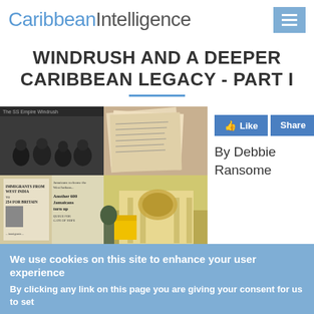CaribbeanIntelligence
WINDRUSH AND A DEEPER CARIBBEAN LEGACY - PART I
[Figure (photo): Photo collage showing Windrush-era immigrants in black and white, old documents/papers, newspaper clippings about Caribbean immigrants to Britain, and a historic building]
By Debbie Ransome
We use cookies on this site to enhance your user experience
By clicking any link on this page you are giving your consent for us to set